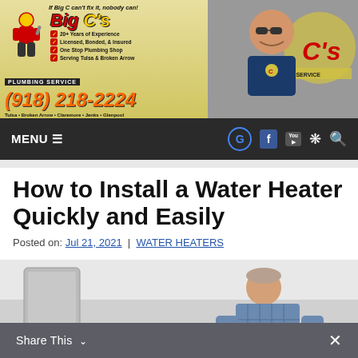[Figure (infographic): Big C's Plumbing Service advertisement banner with logo, mascot, tagline 'If Big C can't fix it, nobody can!', checklist of services, phone number (918) 218-2224, service cities, and photo of a smiling man in sunglasses]
MENU ☰   G  f  You  ✱  🔍
How to Install a Water Heater Quickly and Easily
Posted on: Jul 21, 2021  |  WATER HEATERS
[Figure (photo): Person installing a water heater, bending over in work clothes]
Share This ∨   ×